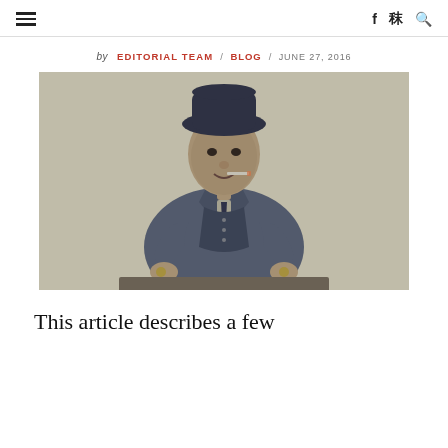≡   f  ✓  🔍
by EDITORIAL TEAM / BLOG / JUNE 27, 2016
[Figure (photo): Vintage duotone photo of a man in a bowler hat and suit, holding coins over a table, with a cigarette in his mouth, against a beige background.]
This article describes a few